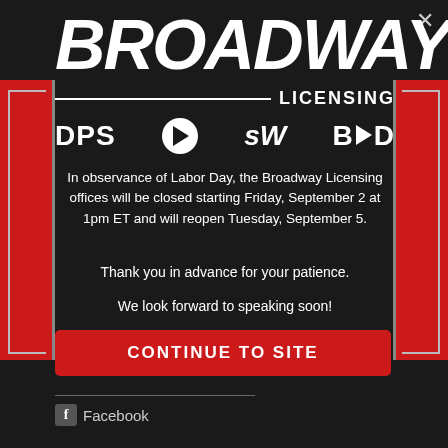BROADWAY LICENSING
[Figure (logo): Broadway Licensing logo with DPS, P (play button), SW, BOD sub-brand logos]
In observance of Labor Day, the Broadway Licensing offices will be closed starting Friday, September 2 at 1pm ET and will reopen Tuesday, September 5.
Thank you in advance for your patience.
We look forward to speaking soon!
CONTINUE TO SITE
Facebook